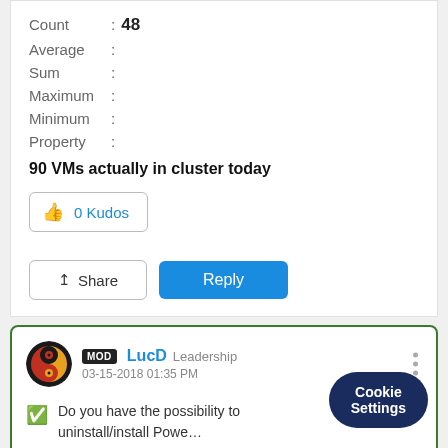Count : 48
Average :
Sum :
Maximum :
Minimum :
Property :
90 VMs actually in cluster today
0 Kudos
Share
Reply
LucD  Leadership  03-15-2018 01:35 PM
Do you have the possibility to uninstall/install Powe
Cookie Settings